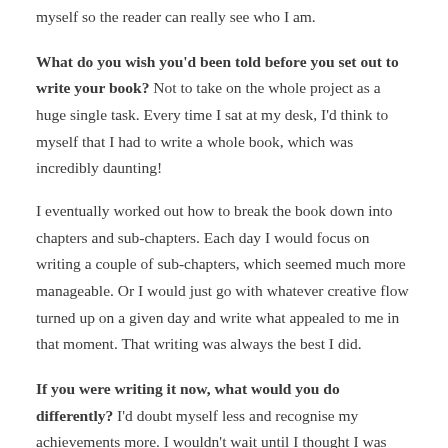myself so the reader can really see who I am.
What do you wish you'd been told before you set out to write your book? Not to take on the whole project as a huge single task. Every time I sat at my desk, I'd think to myself that I had to write a whole book, which was incredibly daunting!
I eventually worked out how to break the book down into chapters and sub-chapters. Each day I would focus on writing a couple of sub-chapters, which seemed much more manageable. Or I would just go with whatever creative flow turned up on a given day and write what appealed to me in that moment. That writing was always the best I did.
If you were writing it now, what would you do differently? I'd doubt myself less and recognise my achievements more. I wouldn't wait until I thought I was 'ready'